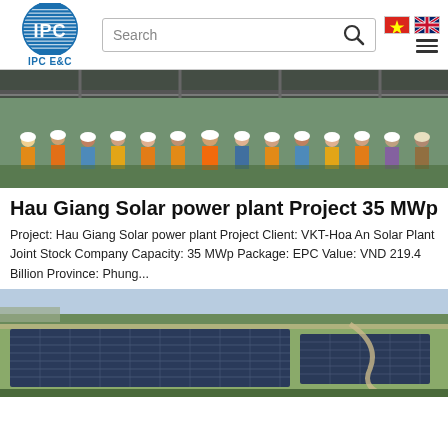[Figure (logo): IPC E&C logo with blue circle and horizontal lines]
[Figure (screenshot): Search bar with magnifying glass icon]
[Figure (photo): Group of construction workers in hard hats and safety vests at a solar power plant]
Hau Giang Solar power plant Project 35 MWp
Project: Hau Giang Solar power plant Project Client: VKT-Hoa An Solar Plant Joint Stock Company Capacity: 35 MWp Package: EPC Value: VND 219.4 Billion Province: Phung...
[Figure (photo): Aerial view of a large solar panel farm/solar power plant]